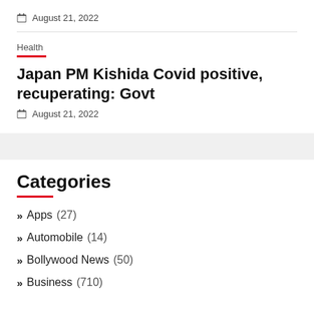August 21, 2022
Health
Japan PM Kishida Covid positive, recuperating: Govt
August 21, 2022
Categories
Apps (27)
Automobile (14)
Bollywood News (50)
Business (710)